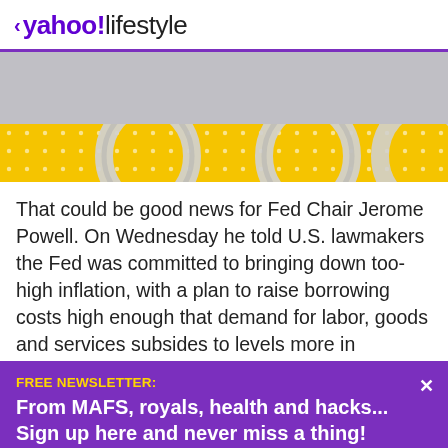< yahoo!lifestyle
[Figure (photo): Partial image showing wedding rings on yellow polka-dot background, with gray/silver upper portion.]
That could be good news for Fed Chair Jerome Powell. On Wednesday he told U.S. lawmakers the Fed was committed to bringing down too-high inflation, with a plan to raise borrowing costs high enough that demand for labor, goods and services subsides to levels more in line with supply.
FREE NEWSLETTER:
From MAFS, royals, health and hacks... Sign up here and never miss a thing!
View comments